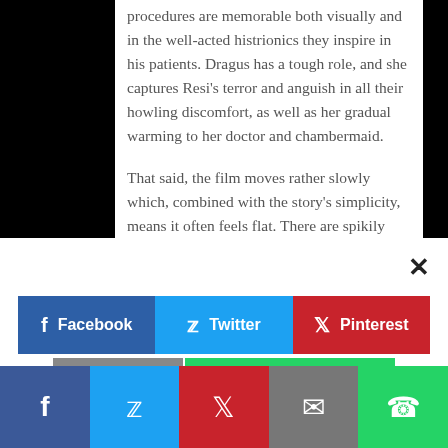procedures are memorable both visually and in the well-acted histrionics they inspire in his patients. Dragus has a tough role, and she captures Resi's terror and anguish in all their howling discomfort, as well as her gradual warming to her doctor and chambermaid.

That said, the film moves rather slowly which, combined with the story's simplicity, means it often feels flat. There are spikily angry looks at the misogyny of the time that so exacerbate Resi's condition, but they are too few and far between to land as impactfully as they could. In the last 20 minutes, Kathrin Resetarits' script abruptly introduces a bevy of new plot strands, all of which are left hanging by the end, and pull
[Figure (infographic): Social sharing modal overlay with Facebook, Twitter, and Pinterest buttons, plus a bottom navigation bar with social media icons (Facebook, Twitter, Pinterest, Email, WhatsApp). A close (×) button appears top right.]